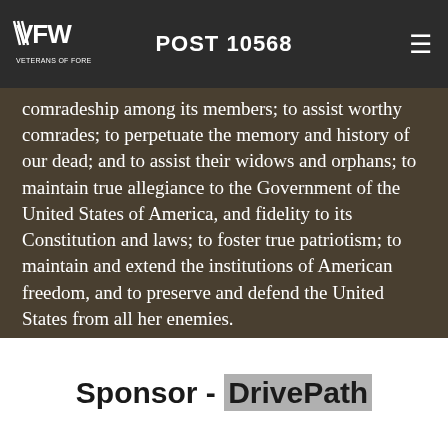VFW POST 10568
comradeship among its members; to assist worthy comrades; to perpetuate the memory and history of our dead; and to assist their widows and orphans; to maintain true allegiance to the Government of the United States of America, and fidelity to its Constitution and laws; to foster true patriotism; to maintain and extend the institutions of American freedom, and to preserve and defend the United States from all her enemies.
Sponsor - DrivePath